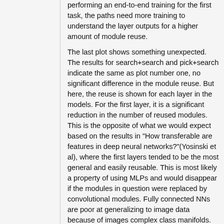performing an end-to-end training for the first task, the paths need more training to understand the layer outputs for a higher amount of module reuse.
The last plot shows something unexpected. The results for search+search and pick+search indicate the same as plot number one, no significant difference in the module reuse. But here, the reuse is shown for each layer in the models. For the first layer, it is a significant reduction in the number of reused modules. This is the opposite of what we would expect based on the results in "How transferable are features in deep neural networks?"(Yosinski et al), where the first layers tended to be the most general and easily reusable. This is most likely a property of using MLPs and would disappear if the modules in question were replaced by convolutional modules. Fully connected NNs are poor at generalizing to image data because of images complex class manifolds.
Initial reaction: This is a property of using MLPs and would disappear if the first layers